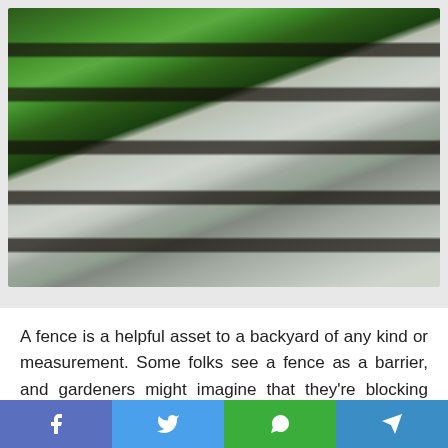[Figure (photo): Photograph of stone garden steps flanked by lush green ferns and large blue-green hosta plants on the left side, with the stone steps ascending from lower right to upper left]
A fence is a helpful asset to a backyard of any kind or measurement. Some folks see a fence as a barrier, and gardeners might imagine that they're blocking different folks from having fun with their creations. In actuality, you might be